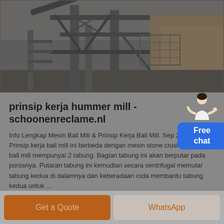[Figure (photo): Industrial machinery / mill equipment photograph showing metal framework, stairs, conveyor structures in a quarry or mining facility setting]
prinsip kerja hummer mill - schoonenreclame.nl
Info Lengkap Mesin Ball Mill & Prinsip Kerja Ball Mill. Sep 27, 2013 · Prinsip kerja ball mill ini berbeda dengan mesin stone crusher. Mesin ball mill mempunyai 2 tabung. Bagian tabung ini akan berputar pada porosnya. Putaran tabung ini kemudian secara sentrifugal memutar tabung kedua di dalamnya dan keberadaan roda membantu tabung kedua untuk ...
[Figure (illustration): Free chat widget showing a customer service person and a blue button labeled Free chat]
Get a Quote
WhatsApp